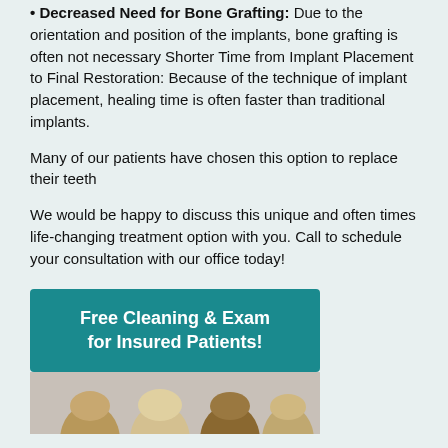Decreased Need for Bone Grafting: Due to the orientation and position of the implants, bone grafting is often not necessary Shorter Time from Implant Placement to Final Restoration: Because of the technique of implant placement, healing time is often faster than traditional implants.
Many of our patients have chosen this option to replace their teeth
We would be happy to discuss this unique and often times life-changing treatment option with you. Call to schedule your consultation with our office today!
[Figure (infographic): Teal banner with text 'Free Cleaning & Exam for Insured Patients!' above a photo of multiple people (heads/hair visible at bottom)]